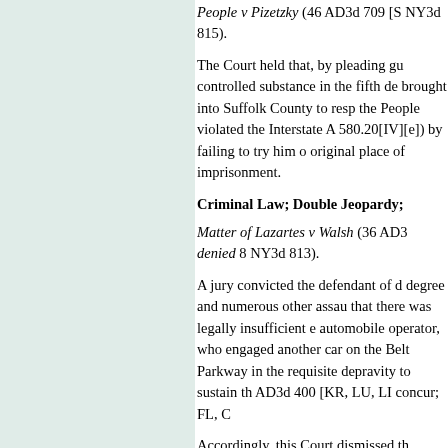People v Pizetzky (46 AD3d 709 [S NY3d 815).
The Court held that, by pleading guilty to criminal sale of a controlled substance in the fifth degree, and thereafter being brought into Suffolk County to respond to pending charges, the People violated the Interstate Agreement on Detainers (CPL 580.20[IV][e]) by failing to try him on those charges at his original place of imprisonment.
Criminal Law; Double Jeopardy;
Matter of Lazartes v Walsh (36 AD3d ... lv denied 8 NY3d 813).
A jury convicted the defendant of depraved indifference murder in the first degree and numerous other assault charges. The Court determined that there was legally insufficient evidence that the defendant, an automobile operator, who engaged in a road rage confrontation with another car on the Belt Parkway in Brooklyn, had the requisite depravity to sustain the murder conviction. AD3d 400 [KR, LU, LI concur; FL, C
Accordingly, this Court dismissed the murder and assault counts, reversing the defendant's conviction on those counts due to erroneous jury instructions by the trial court on all remaining counts. When the People sought to retry the defendant not on those counts, but on two counts of manslaughter in the first degree as an included offense of depraved indifference murder, the defendant asked this Court to prohibit his retrial.